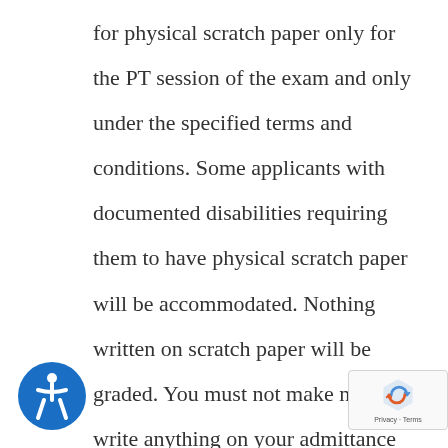for physical scratch paper only for the PT session of the exam and only under the specified terms and conditions. Some applicants with documented disabilities requiring them to have physical scratch paper will be accommodated. Nothing written on scratch paper will be graded. You must not make notes or write anything on your admittance ticket. If writing is found on your